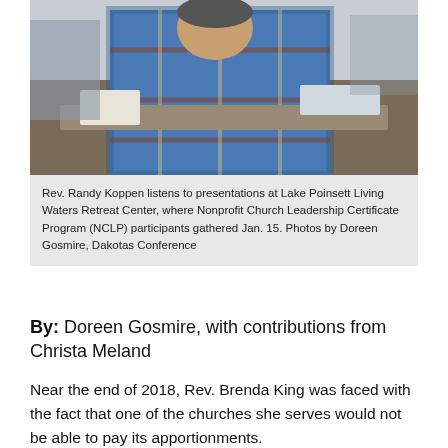[Figure (photo): Photo of Rev. Randy Koppen listening to presentations at Lake Poinsett Living Waters Retreat Center, showing a man in a plaid shirt seated at a table.]
Rev. Randy Koppen listens to presentations at Lake Poinsett Living Waters Retreat Center, where Nonprofit Church Leadership Certificate Program (NCLP) participants gathered Jan. 15. Photos by Doreen Gosmire, Dakotas Conference
By: Doreen Gosmire, with contributions from Christa Meland
Near the end of 2018, Rev. Brenda King was faced with the fact that one of the churches she serves would not be able to pay its apportionments.
King—who pastors First in Appleton, Zion in Bellingham, and First in Correll—started thinking about what she had learned in the Nonprofit Church Leadership Certificate Program (NCLP) she's taking through Dakota Wesleyan University. Ten Minnesota clergy and eight Dakotas clergy are participating in the program, which was made possible